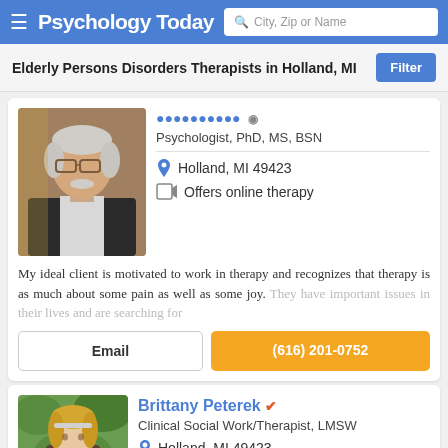Psychology Today — City, Zip or Name search
Elderly Persons Disorders Therapists in Holland, MI
[Figure (photo): Portrait photo of older male therapist with white hair, glasses, and dark jacket]
Psychologist, PhD, MS, BSN
Holland, MI 49423
Offers online therapy
My ideal client is motivated to work in therapy and recognizes that therapy is as much about some pain as well as some joy. They have important issues in their lives and are searching for
Email
(616) 201-0752
[Figure (photo): Portrait photo of younger blonde woman therapist outdoors with green foliage background]
Brittany Peterek
Clinical Social Work/Therapist, LMSW
Holland, MI 49423